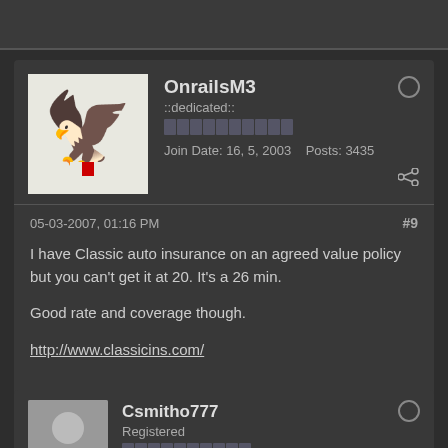[Figure (other): Top dark bar area]
OnrailsM3
::dedicated::
Join Date: 16, 5, 2003   Posts: 3435
05-03-2007, 01:16 PM
#9
I have Classic auto insurance on an agreed value policy but you can't get it at 20. It's a 26 min.
Good rate and coverage though.
http://www.classicins.com/
Csmitho777
Registered
Join Date: 14, 4, 2005   Posts: 122